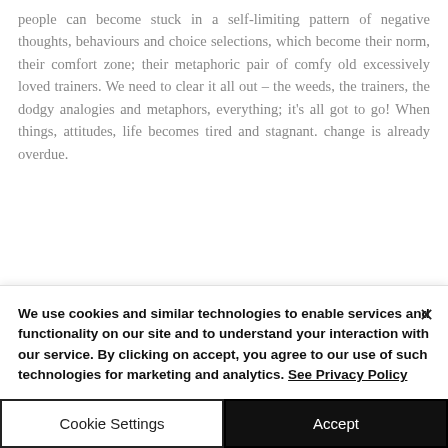people can become stuck in a self-limiting pattern of negative thoughts, behaviours and choice selections, which become their norm, their comfort zone; their metaphoric pair of comfy old excessively loved trainers. We need to clear it all out – the weeds, the trainers, the dodgy analogies and metaphors, everything; it's all got to go! When things, attitudes, life becomes tired and stagnant. change is already overdue.
We use cookies and similar technologies to enable services and functionality on our site and to understand your interaction with our service. By clicking on accept, you agree to our use of such technologies for marketing and analytics. See Privacy Policy
Cookie Settings
Accept